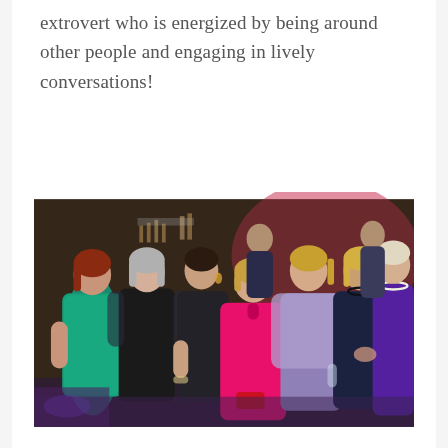extrovert who is energized by being around other people and engaging in lively conversations!
[Figure (photo): Group photo of seven women dressed in formal evening gowns at what appears to be a gala or formal event. Women are wearing colorful dresses including teal/green sequined, black, hot pink, lavender/purple, navy, and royal purple. They are posing together and smiling. The background shows a bar area with pink/red lighting and other people in the background.]